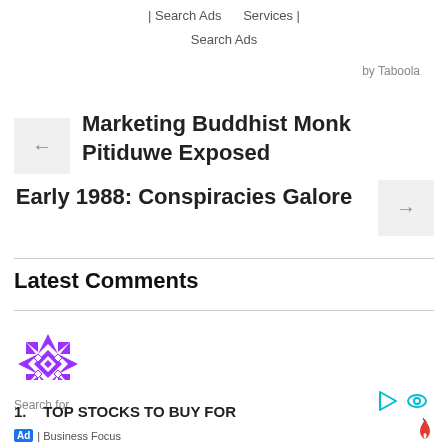| Search Ads   Services |
Search Ads
by Taboola
← Marketing Buddhist Monk Pitiduwe Exposed
Early 1988: Conspiracies Galore →
Latest Comments
[Figure (illustration): Purple geometric snowflake/mandala avatar icon]
pearl thevanayagam / January 3, 2014
Search for
1. TOP STOCKS TO BUY FOR
Ad | Business Focus